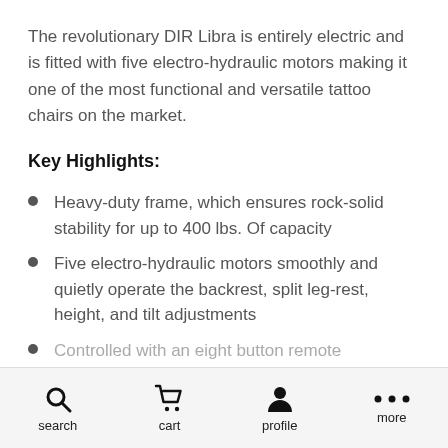The revolutionary DIR Libra is entirely electric and is fitted with five electro-hydraulic motors making it one of the most functional and versatile tattoo chairs on the market.
Key Highlights:
Heavy-duty frame, which ensures rock-solid stability for up to 400 lbs. Of capacity
Five electro-hydraulic motors smoothly and quietly operate the backrest, split leg-rest, height, and tilt adjustments
Controlled with an eight button remote
search  cart  profile  more